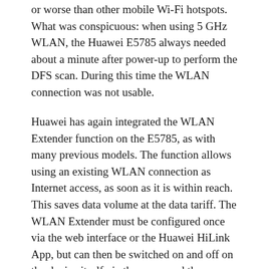or worse than other mobile Wi-Fi hotspots. What was conspicuous: when using 5 GHz WLAN, the Huawei E5785 always needed about a minute after power-up to perform the DFS scan. During this time the WLAN connection was not usable.
Huawei has again integrated the WLAN Extender function on the E5785, as with many previous models. The function allows using an existing WLAN connection as Internet access, as soon as it is within reach. This saves data volume at the data tariff. The WLAN Extender must be configured once via the web interface or the Huawei HiLink App, but can then be switched on and off on the device itself via the menu and the power button. In the test it was noticeable that the speed was limited to about 15 MBit/s when using the WLAN Extender function. However, this is not only the case with the E5785, the sister model Huawei E5885 also had this